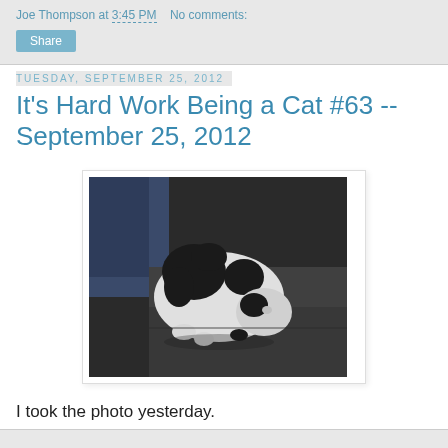Joe Thompson at 3:45 PM   No comments:
Share
Tuesday, September 25, 2012
It's Hard Work Being a Cat #63 -- September 25, 2012
[Figure (photo): Black and white photo of a black and white cat lying curled on a dark surface, viewed from above]
I took the photo yesterday.